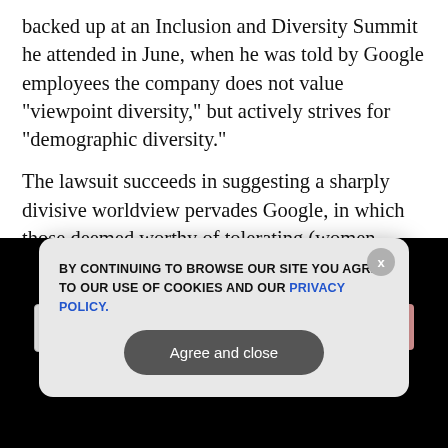backed up at an Inclusion and Diversity Summit he attended in June, when he was told by Google employees the company does not value "viewpoint diversity," but actively strives for "demographic diversity."
The lawsuit succeeds in suggesting a sharply divisive worldview pervades Google, in which those deemed worthy of tolerating (women, minorities, transgenders, etc.) are to be protected and agreed with at all costs — the recipients of unbridled compassion and understanding — while those who fall outside the bounds are to be ruthlessly disowned and expelled. Here are 19 of the most notable and bizarre anecdote of corporate culture laid
GET THE WORLD'S BEST INDEPENDENT MEDIA NEWSLETTER DELIVERED STRAIGHT TO YOUR INBOX.
Enter Your Email Address
SUBSCRIBE
[Figure (screenshot): Cookie consent popup overlay on dark background. Text reads: 'BY CONTINUING TO BROWSE OUR SITE YOU AGREE TO OUR USE OF COOKIES AND OUR PRIVACY POLICY.' with an 'Agree and close' button. An X close button appears top right.]